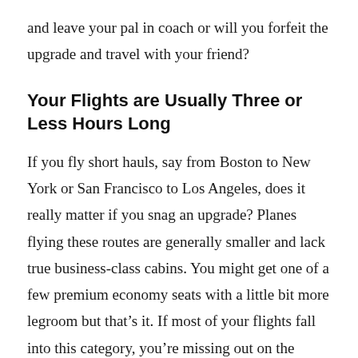and leave your pal in coach or will you forfeit the upgrade and travel with your friend?
Your Flights are Usually Three or Less Hours Long
If you fly short hauls, say from Boston to New York or San Francisco to Los Angeles, does it really matter if you snag an upgrade? Planes flying these routes are generally smaller and lack true business-class cabins. You might get one of a few premium economy seats with a little bit more legroom but that's it. If most of your flights fall into this category, you're missing out on the upgrade opportunity of elite status anyway, though you would still have access to priority check-